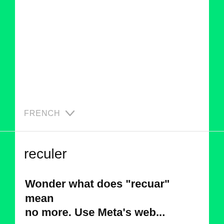FRENCH ∨
reculer
Wonder what does "recuar" mean no more. Use Meta's web...